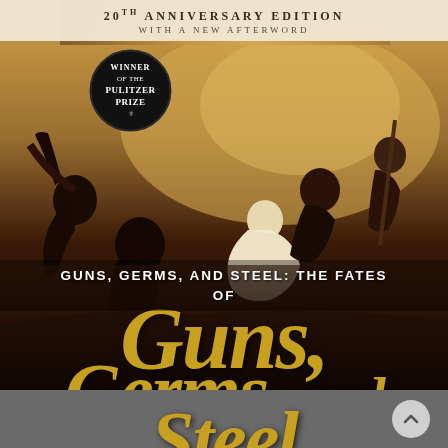20th Anniversary Edition With a New Afterword
[Figure (illustration): Book cover illustration: a dramatic battle scene painting with dark earthy tones showing historical combat figures against a golden sky background. A black circular badge reads 'WINNER OF THE PULITZER PRIZE'. Large decorative golden letters spell out 'Guns, Germs, and Steel' across the lower portion of the cover.]
GUNS, GERMS, AND STEEL: THE FATES OF
Guns, Germs, and Steel